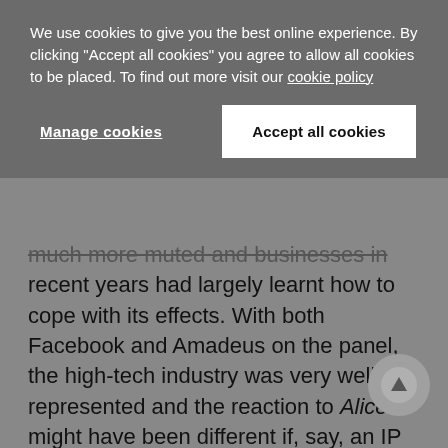much more muted and businesses in recent years had largely learnt how to cope with its effects. With both Facebook and Amadeus on the panel, the high-tech industry was very well represented and the reaction to Alice might have been different if, say, an IP leader from a medical diagnostics business had been speaking. But Cassandra Derham from Amadeus did highlight one area where the Supreme Court ruling had had a clear impact on her company. The decision, she said, had started
We use cookies to give you the best online experience. By clicking "Accept all cookies" you agree to allow all cookies to be placed. To find out more visit our cookie policy
Manage cookies
Accept all cookies